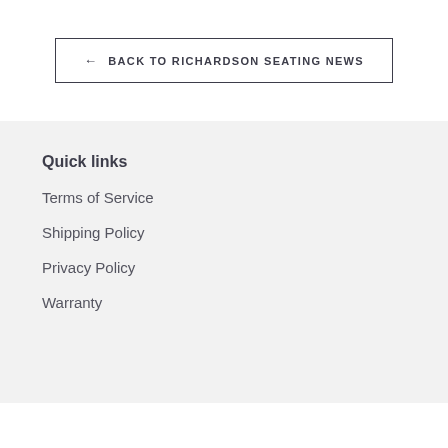← BACK TO RICHARDSON SEATING NEWS
Quick links
Terms of Service
Shipping Policy
Privacy Policy
Warranty